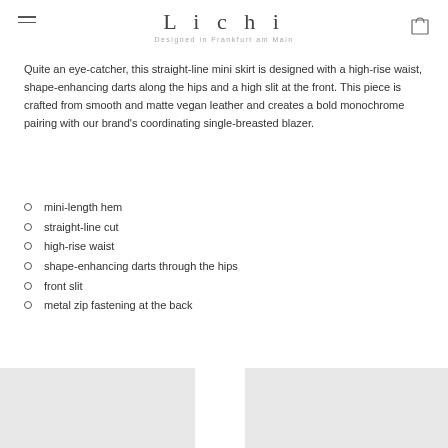Lichi — Designed in Frankfurt am Main
Quite an eye-catcher, this straight-line mini skirt is designed with a high-rise waist, shape-enhancing darts along the hips and a high slit at the front. This piece is crafted from smooth and matte vegan leather and creates a bold monochrome pairing with our brand's coordinating single-breasted blazer.
mini-length hem
straight-line cut
high-rise waist
shape-enhancing darts through the hips
front slit
metal zip fastening at the back
[Figure (photo): Two product photos side by side (light gray placeholders)]